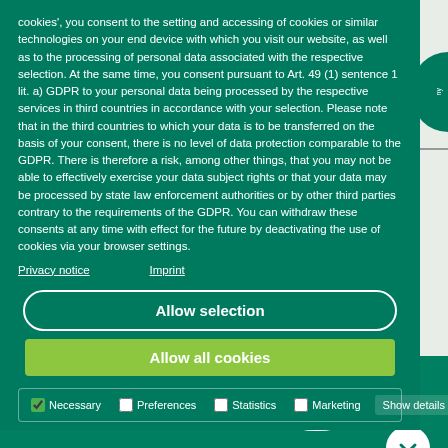cookies', you consent to the setting and accessing of cookies or similar technologies on your end device with which you visit our website, as well as to the processing of personal data associated with the respective selection. At the same time, you consent pursuant to Art. 49 (1) sentence 1 lit. a) GDPR to your personal data being processed by the respective services in third countries in accordance with your selection. Please note that in the third countries to which your data is to be transferred on the basis of your consent, there is no level of data protection comparable to the GDPR. There is therefore a risk, among other things, that you may not be able to effectively exercise your data subject rights or that your data may be processed by state law enforcement authorities or by other third parties contrary to the requirements of the GDPR. You can withdraw these consents at any time with effect for the future by deactivating the use of cookies via your browser settings.
Privacy notice    Imprint
Allow selection
Allow all cookies
Necessary  Preferences  Statistics  Marketing  Show details
[Figure (logo): LinkedIn 'in' logo icon in blue]
[Figure (logo): PHOENIX group logo in white on teal background with circular emblem]